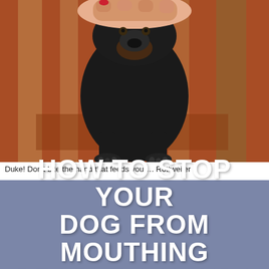[Figure (photo): A black Rottweiler dog standing on a colorful patterned rug, with a human hand pressing down on top of the dog's head from above.]
Duke! Don't bite the hand that feeds you…. Rottweiler
HOW TO STOP YOUR DOG FROM MOUTHING PEOPLE'S HANDS